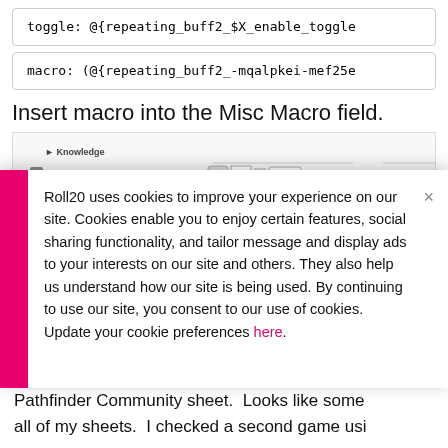toggle: @{repeating_buff2_$X_enable_toggle
macro: (@{repeating_buff2_-mqalpkei-mef25e
Insert macro into the Misc Macro field.
[Figure (screenshot): Screenshot of Roll20 character sheet skills section showing Linguistics and Perception skills with repeating buff macro highlighted in red circle]
Roll20 uses cookies to improve your experience on our site. Cookies enable you to enjoy certain features, social sharing functionality, and tailor message and display ads to your interests on our site and others. They also help us understand how our site is being used. By continuing to use our site, you consent to our use of cookies. Update your cookie preferences here.
Pathfinder Community sheet.  Looks like some all of my sheets.  I checked a second game usi